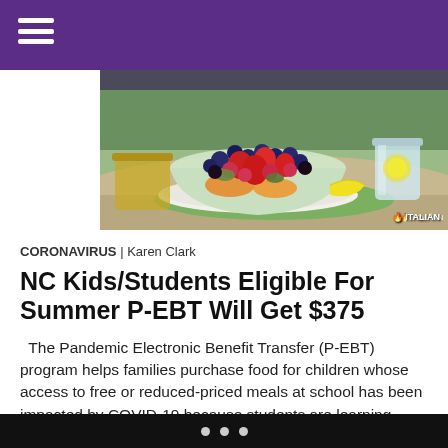[Figure (photo): Overhead shot of a large glass bowl filled with mixed fresh fruits including blueberries, strawberries, raspberries, oranges, and other fruits, on a green plate, with a lemon wedge and a mason jar drink in background.]
CORONAVIRUS | Karen Clark
NC Kids/Students Eligible For Summer P-EBT Will Get $375
The Pandemic Electronic Benefit Transfer (P-EBT) program helps families purchase food for children whose access to free or reduced-priced meals at school has been impacted by COVID-19 because students are learning virtually, outside of brick-and-mortar schools. The school 2020-2021 extension of P-EBT benefits…